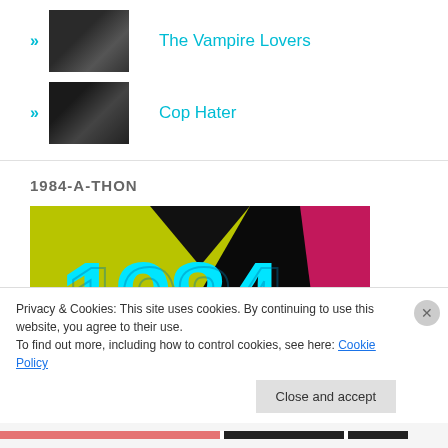The Vampire Lovers
Cop Hater
1984-A-THON
[Figure (photo): Colorful 1984 graphic with large cyan text '1984' on a background of black, yellow-green, and pink geometric shapes]
Privacy & Cookies: This site uses cookies. By continuing to use this website, you agree to their use.
To find out more, including how to control cookies, see here: Cookie Policy
Close and accept